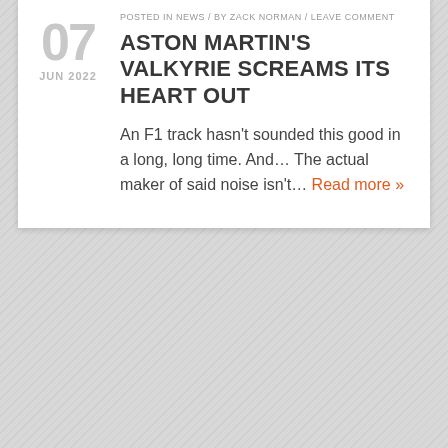POSTED IN NEWS / BY ZACK NORMAN / LEAVE COMMENT
ASTON MARTIN'S VALKYRIE SCREAMS ITS HEART OUT
An F1 track hasn't sounded this good in a long, long time. And… The actual maker of said noise isn't… Read more »